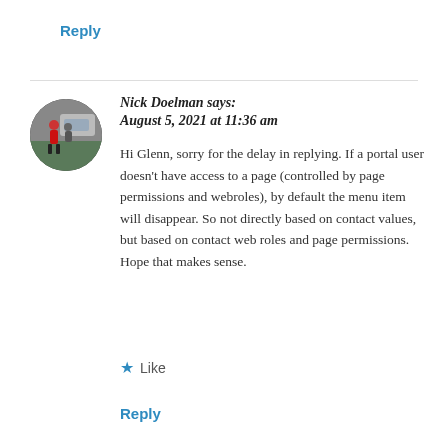Reply
[Figure (photo): Circular avatar photo of Nick Doelman, a person standing outdoors near a vehicle]
Nick Doelman says:
August 5, 2021 at 11:36 am
Hi Glenn, sorry for the delay in replying. If a portal user doesn't have access to a page (controlled by page permissions and webroles), by default the menu item will disappear. So not directly based on contact values, but based on contact web roles and page permissions. Hope that makes sense.
★ Like
Reply